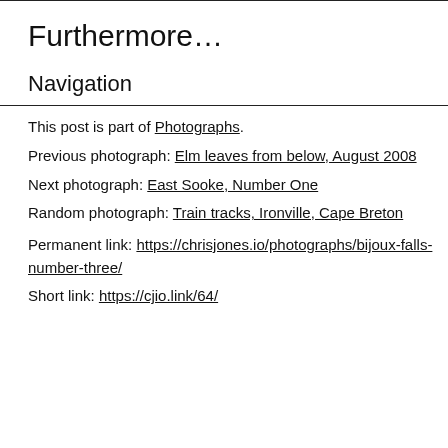Furthermore…
Navigation
This post is part of Photographs.
Previous photograph: Elm leaves from below, August 2008
Next photograph: East Sooke, Number One
Random photograph: Train tracks, Ironville, Cape Breton
Permanent link: https://chrisjones.io/photographs/bijoux-falls-number-three/
Short link: https://cjio.link/64/